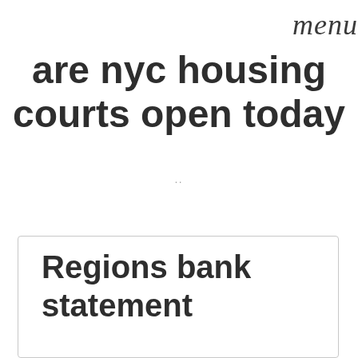menu
are nyc housing courts open today
..
Regions bank statement